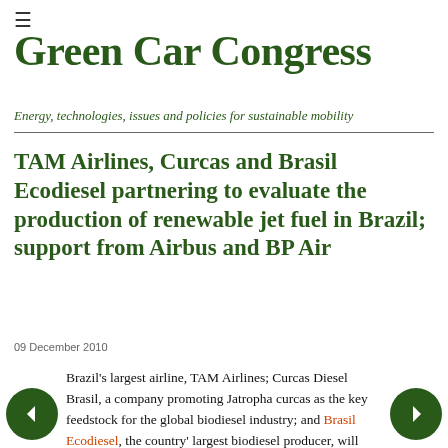≡
Green Car Congress
Energy, technologies, issues and policies for sustainable mobility
TAM Airlines, Curcas and Brasil Ecodiesel partnering to evaluate the production of renewable jet fuel in Brazil; support from Airbus and BP Air
09 December 2010
Brazil's largest airline, TAM Airlines; Curcas Diesel Brasil, a company promoting Jatropha curcas as the key feedstock for the global biodiesel industry; and Brasil Ecodiesel, the country' largest biodiesel producer, will